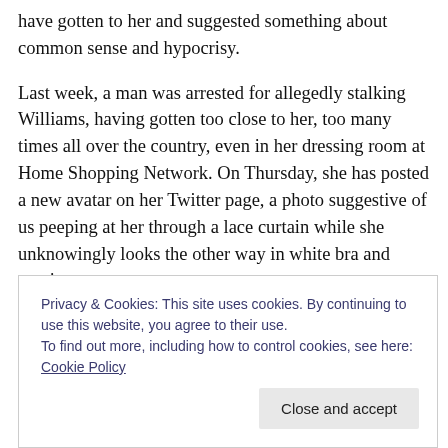have gotten to her and suggested something about common sense and hypocrisy.
Last week, a man was arrested for allegedly stalking Williams, having gotten too close to her, too many times all over the country, even in her dressing room at Home Shopping Network. On Thursday, she has posted a new avatar on her Twitter page, a photo suggestive of us peeping at her through a lace curtain while she unknowingly looks the other way in white bra and panties.
It's a sexy photo, she looks great and it's not
Privacy & Cookies: This site uses cookies. By continuing to use this website, you agree to their use.
To find out more, including how to control cookies, see here: Cookie Policy